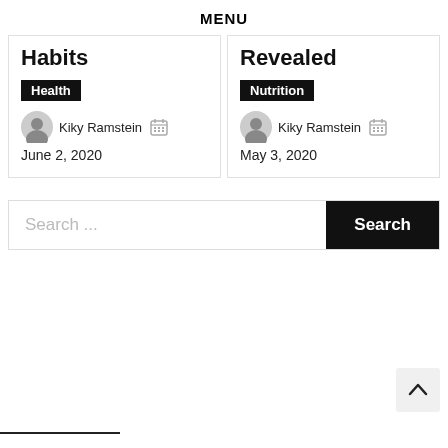MENU
Habits
Health
Kiky Ramstein
June 2, 2020
Revealed
Nutrition
Kiky Ramstein
May 3, 2020
Search ...
Search